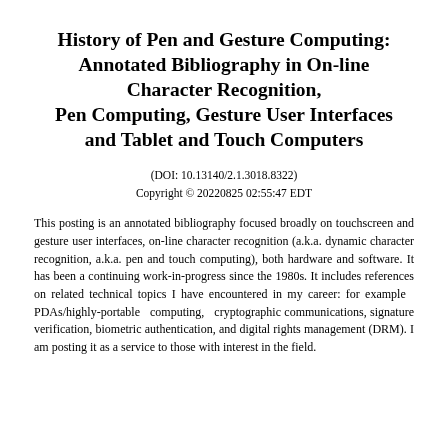History of Pen and Gesture Computing: Annotated Bibliography in On-line Character Recognition, Pen Computing, Gesture User Interfaces and Tablet and Touch Computers
(DOI: 10.13140/2.1.3018.8322)
Copyright © 20220825 02:55:47 EDT
This posting is an annotated bibliography focused broadly on touchscreen and gesture user interfaces, on-line character recognition (a.k.a. dynamic character recognition, a.k.a. pen and touch computing), both hardware and software. It has been a continuing work-in-progress since the 1980s. It includes references on related technical topics I have encountered in my career: for example PDAs/highly-portable computing, cryptographic communications, signature verification, biometric authentication, and digital rights management (DRM). I am posting it as a service to those with interest in the field.